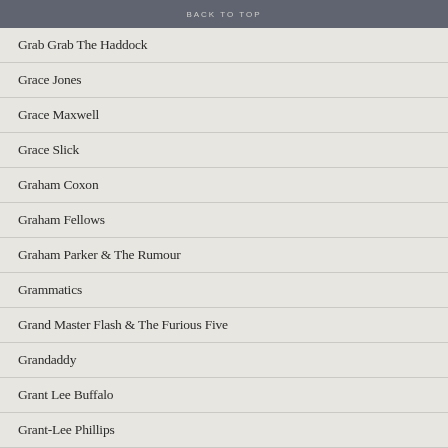BACK TO TOP
Grab Grab The Haddock
Grace Jones
Grace Maxwell
Grace Slick
Graham Coxon
Graham Fellows
Graham Parker & The Rumour
Grammatics
Grand Master Flash & The Furious Five
Grandaddy
Grant Lee Buffalo
Grant-Lee Phillips
Gravenburst